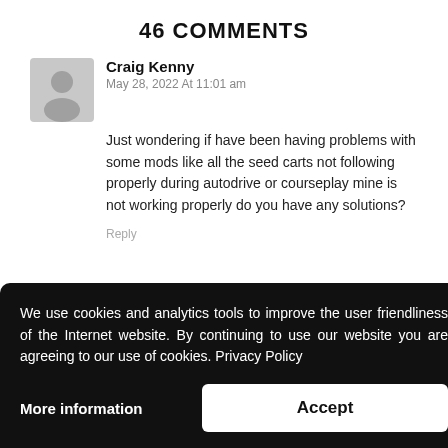46 COMMENTS
Craig Kenny
May 28, 2022 At 11:01 am
Just wondering if have been having problems with some mods like all the seed carts not following properly during autodrive or courseplay mine is not working properly do you have any solutions?
Reply
We use cookies and analytics tools to improve the user friendliness of the Internet website. By continuing to use our website you are agreeing to our use of cookies. Privacy Policy
More information
Accept
Reply